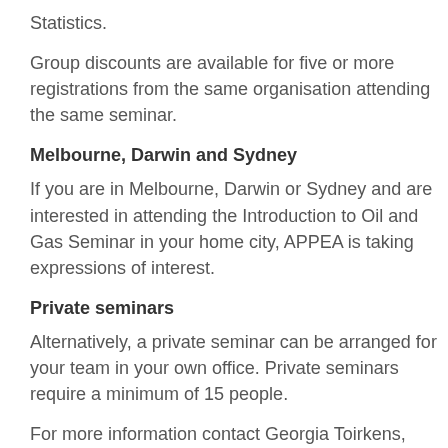Statistics.
Group discounts are available for five or more registrations from the same organisation attending the same seminar.
Melbourne, Darwin and Sydney
If you are in Melbourne, Darwin or Sydney and are interested in attending the Introduction to Oil and Gas Seminar in your home city, APPEA is taking expressions of interest.
Private seminars
Alternatively, a private seminar can be arranged for your team in your own office. Private seminars require a minimum of 15 people.
For more information contact Georgia Toirkens, Senior Events Coordinator, APPEA via